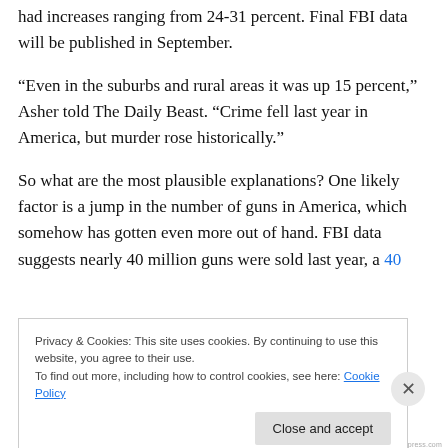had increases ranging from 24-31 percent. Final FBI data will be published in September.
“Even in the suburbs and rural areas it was up 15 percent,” Asher told The Daily Beast. “Crime fell last year in America, but murder rose historically.”
So what are the most plausible explanations? One likely factor is a jump in the number of guns in America, which somehow has gotten even more out of hand. FBI data suggests nearly 40 million guns were sold last year, a 40
Privacy & Cookies: This site uses cookies. By continuing to use this website, you agree to their use.
To find out more, including how to control cookies, see here: Cookie Policy